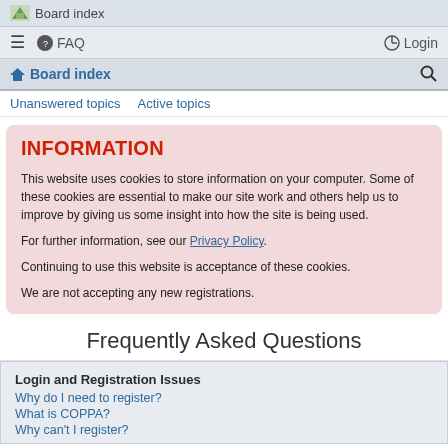Board index
≡  FAQ  Login
Board index
Unanswered topics   Active topics
INFORMATION
This website uses cookies to store information on your computer. Some of these cookies are essential to make our site work and others help us to improve by giving us some insight into how the site is being used.
For further information, see our Privacy Policy.
Continuing to use this website is acceptance of these cookies.
We are not accepting any new registrations.
Frequently Asked Questions
Login and Registration Issues
Why do I need to register?
What is COPPA?
Why can't I register?